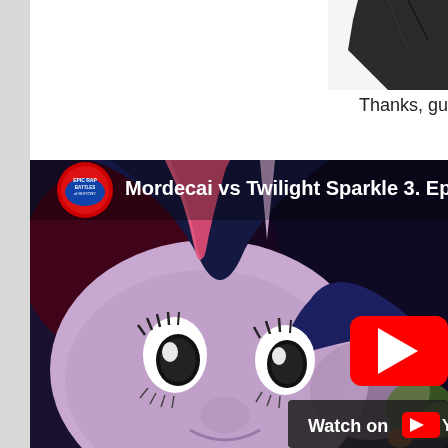[Figure (screenshot): Partial silhouette image in top right corner of the page, dark figure on white background]
Thanks, gu
[Figure (screenshot): YouTube video embed showing a thumbnail for 'Mordecai vs Twilight Sparkle 3. Epic...' featuring an animated pony character (Twilight Sparkle) with large expressive eyes, dark blue mane with pink stripe, purple body, on a dark background. A YouTube play button overlay is visible on the right side. A 'Watch on YouTube' badge is shown at the bottom left of the thumbnail. The Epic Rap Battles of History channel logo (red circle with text) is shown in the top left.]